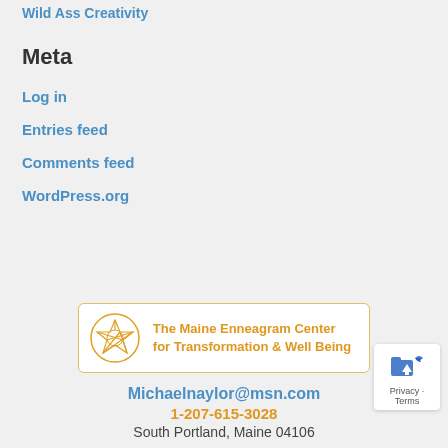Wild Ass Creativity
Meta
Log in
Entries feed
Comments feed
WordPress.org
[Figure (logo): The Maine Enneagram Center for Transformation & Well Being logo with circular emblem]
Michaelnaylor@msn.com
1-207-615-3028
South Portland, Maine 04106